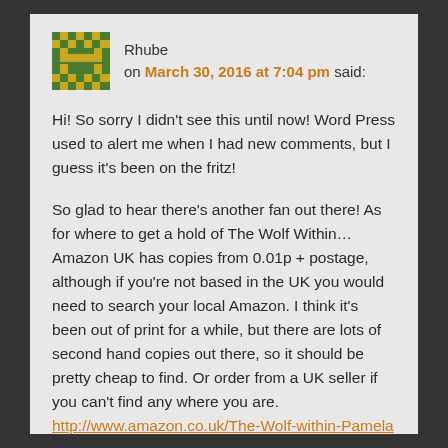[Figure (illustration): Pixelated green and yellow avatar icon resembling a retro/8-bit character]
Rhube on March 30, 2016 at 7:04 pm said:
Hi! So sorry I didn't see this until now! Word Press used to alert me when I had new comments, but I guess it's been on the fritz!
So glad to hear there's another fan out there! As for where to get a hold of The Wolf Within… Amazon UK has copies from 0.01p + postage, although if you're not based in the UK you would need to search your local Amazon. I think it's been out of print for a while, but there are lots of second hand copies out there, so it should be pretty cheap to find. Or order from a UK seller if you can't find any where you are. http://www.amazon.co.uk/The-Wolf-within-Pamela-Belle/dp/0330337343 I hope this